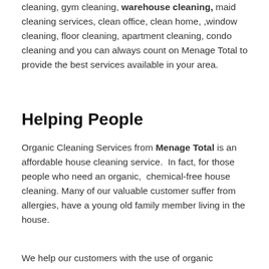cleaning, gym cleaning, warehouse cleaning, maid cleaning services, clean office, clean home, ,window cleaning, floor cleaning, apartment cleaning, condo cleaning and you can always count on Menage Total to provide the best services available in your area.
Helping People
Organic Cleaning Services from Menage Total is an affordable house cleaning service.  In fact, for those people who need an organic,  chemical-free house cleaning. Many of our valuable customer suffer from allergies, have a young old family member living in the house.
We help our customers with the use of organic